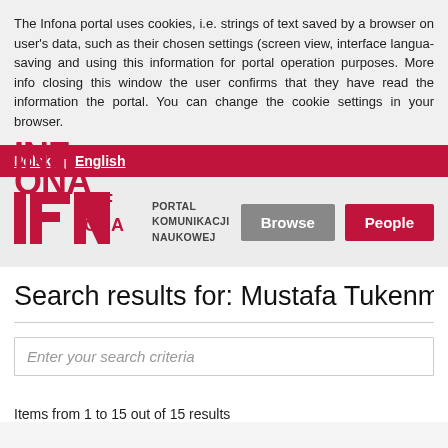The Infona portal uses cookies, i.e. strings of text saved by a browser on user's data, such as their chosen settings (screen view, interface language saving and using this information for portal operation purposes. More info closing this window the user confirms that they have read the information the portal. You can change the cookie settings in your browser.
Polski | English
[Figure (logo): INFONA - Portal Komunikacji Naukowej logo with Browse and People navigation buttons]
Search results for: Mustafa Tukenmez
Enter your search criteria
Items from 1 to 15 out of 15 results